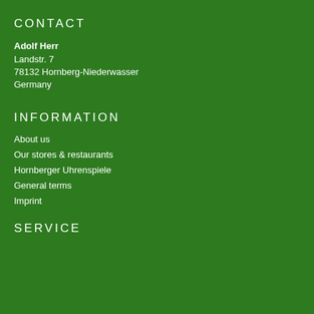CONTACT
Adolf Herr
Landstr. 7
78132 Hornberg-Niederwasser
Germany
INFORMATION
About us
Our stores & restaurants
Hornberger Uhrenspiele
General terms
Imprint
SERVICE